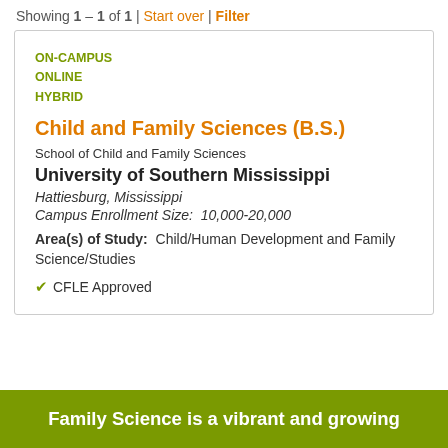Showing 1 - 1 of 1 | Start over | Filter
ON-CAMPUS
ONLINE
HYBRID
Child and Family Sciences (B.S.)
School of Child and Family Sciences
University of Southern Mississippi
Hattiesburg, Mississippi
Campus Enrollment Size:  10,000-20,000
Area(s) of Study:  Child/Human Development and Family Science/Studies
✔ CFLE Approved
Family Science is a vibrant and growing